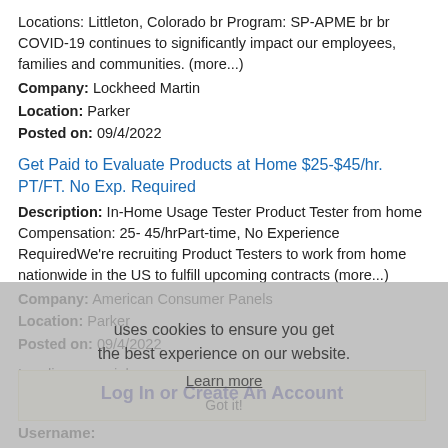Locations: Littleton, Colorado br Program: SP-APME br br COVID-19 continues to significantly impact our employees, families and communities. (more...)
Company: Lockheed Martin
Location: Parker
Posted on: 09/4/2022
Get Paid to Evaluate Products at Home $25-$45/hr. PT/FT. No Exp. Required
Description: In-Home Usage Tester Product Tester from home Compensation: 25- 45/hrPart-time, No Experience RequiredWe're recruiting Product Testers to work from home nationwide in the US to fulfill upcoming contracts (more...)
Company: American Consumer Panels
Location: Parker
Posted on: 09/4/2022
uses cookies to ensure you get the best experience on our website.
Learn more
Loading more jobs...
Got it!
Log In or Create An Account
Username: